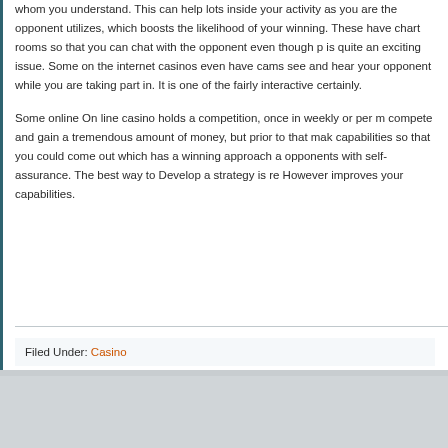whom you understand. This can help lots inside your activity as you are the opponent utilizes, which boosts the likelihood of your winning. These have chart rooms so that you can chat with the opponent even though p is quite an exciting issue. Some on the internet casinos even have cams see and hear your opponent while you are taking part in. It is one of the fairly interactive certainly.
Some online On line casino holds a competition, once in weekly or per m compete and gain a tremendous amount of money, but prior to that mak capabilities so that you could come out which has a winning approach a opponents with self-assurance. The best way to Develop a strategy is re However improves your capabilities.
Filed Under: Casino
RETURN TO TOP OF PAGE